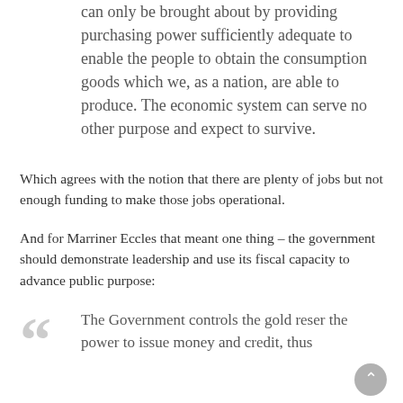can only be brought about by providing purchasing power sufficiently adequate to enable the people to obtain the consumption goods which we, as a nation, are able to produce. The economic system can serve no other purpose and expect to survive.
Which agrees with the notion that there are plenty of jobs but not enough funding to make those jobs operational.
And for Marriner Eccles that meant one thing – the government should demonstrate leadership and use its fiscal capacity to advance public purpose:
The Government controls the gold reser the power to issue money and credit, thus